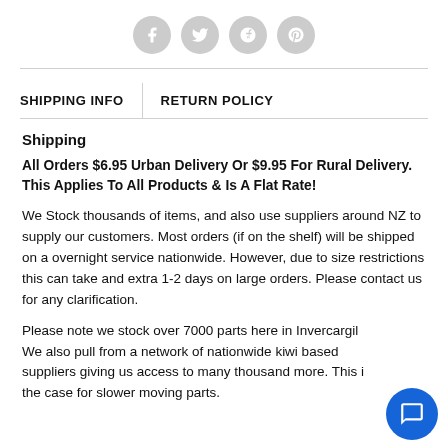[Figure (other): Social media icons: Facebook, Twitter, Google+, Pinterest as grey circles]
SHIPPING INFO | RETURN POLICY
Shipping
All Orders $6.95 Urban Delivery Or $9.95 For Rural Delivery. This Applies To All Products & Is A Flat Rate!
We Stock thousands of items, and also use suppliers around NZ to supply our customers. Most orders (if on the shelf) will be shipped on a overnight service nationwide. However, due to size restrictions this can take and extra 1-2 days on large orders. Please contact us for any clarification.
Please note we stock over 7000 parts here in Invercargill. We also pull from a network of nationwide kiwi based suppliers giving us access to many thousand more. This is the case for slower moving parts.